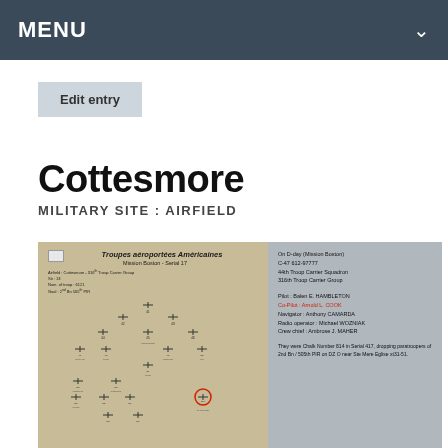MENU
Edit entry
Cottesmore
MILITARY SITE : AIRFIELD
[Figure (other): Scanned French military document titled 'Troupes aéroportées Américaines, Mission Boston - Serial 17' showing a formation diagram of aircraft with unit info, and alongside text describing C-47 aircraft details, crew members including Pilot: Balen E. HAMBLETON, Co-Pilot: Arnold L. COOK (in red), Navigator: Anthony CAMARDA, Radio operator: Michael WOZNIAK, Crew chief: Ambrose J. MAHER, and mission details dropping paratroopers near Ste Mere Eglise.]